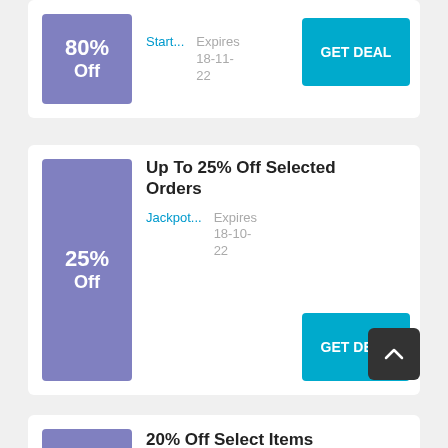[Figure (infographic): 80% Off badge in purple]
Start...
Expires 18-11-22
GET DEAL
Up To 25% Off Selected Orders
[Figure (infographic): 25% Off badge in purple]
Jackpot...
Expires 18-10-22
GET DEAL
20% Off Select Items
[Figure (infographic): Partially visible purple badge at bottom]